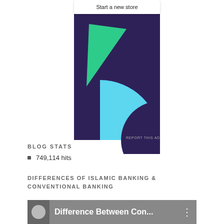[Figure (illustration): Advertisement banner with dark purple background featuring a green triangle shape and a cyan/light blue circular arc shape. A 'Start a new store' button appears at the top.]
REPORT THIS AD
BLOG STATS
749,114 hits
DIFFERENCES OF ISLAMIC BANKING & CONVENTIONAL BANKING
[Figure (screenshot): Video thumbnail showing a person and the title 'Difference Between Con...' with a menu icon on the right, displayed in grayscale.]